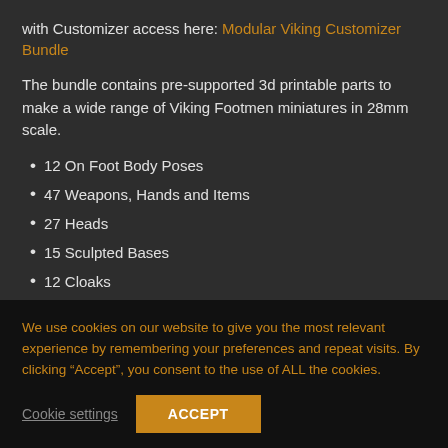with Customizer access here: Modular Viking Customizer Bundle
The bundle contains pre-supported 3d printable parts to make a wide range of Viking Footmen miniatures in 28mm scale.
12 On Foot Body Poses
47 Weapons, Hands and Items
27 Heads
15 Sculpted Bases
12 Cloaks
We use cookies on our website to give you the most relevant experience by remembering your preferences and repeat visits. By clicking “Accept”, you consent to the use of ALL the cookies.
Cookie settings  ACCEPT